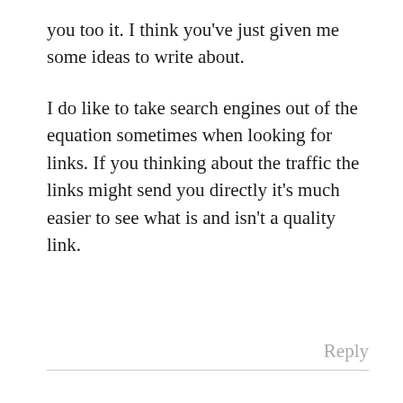you too it. I think you've just given me some ideas to write about.

I do like to take search engines out of the equation sometimes when looking for links. If you thinking about the traffic the links might send you directly it's much easier to see what is and isn't a quality link.
Reply
Yuri says:
December 13, 2006 at 10:15 pm
I don't mind at all 🙂